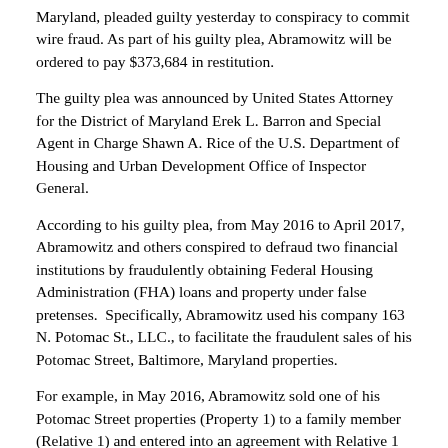Maryland, pleaded guilty yesterday to conspiracy to commit wire fraud. As part of his guilty plea, Abramowitz will be ordered to pay $373,684 in restitution.
The guilty plea was announced by United States Attorney for the District of Maryland Erek L. Barron and Special Agent in Charge Shawn A. Rice of the U.S. Department of Housing and Urban Development Office of Inspector General.
According to his guilty plea, from May 2016 to April 2017, Abramowitz and others conspired to defraud two financial institutions by fraudulently obtaining Federal Housing Administration (FHA) loans and property under false pretenses.  Specifically, Abramowitz used his company 163 N. Potomac St., LLC., to facilitate the fraudulent sales of his Potomac Street, Baltimore, Maryland properties.
For example, in May 2016, Abramowitz sold one of his Potomac Street properties (Property 1) to a family member (Relative 1) and entered into an agreement with Relative 1 to purchase the property using an FHA-insured loan.  The FHA is part of the U.S. Department of Housing and Urban Development (HUD) and provides mortgage insurance on loans made by FHA-approved lenders.  To qualify for the FHA-insured loans, the buyer must use the residence as their primary residence, disclose any familial or business relationship between the seller and buyer, and